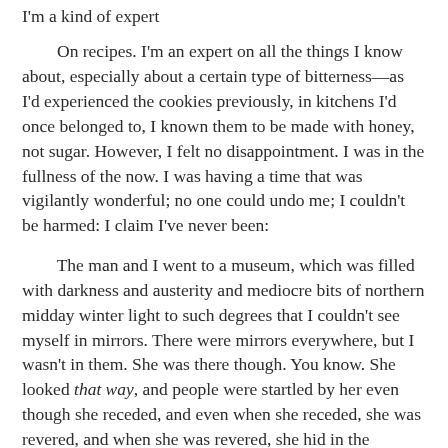I'm a kind of expert

On recipes. I'm an expert on all the things I know about, especially about a certain type of bitterness—as I'd experienced the cookies previously, in kitchens I'd once belonged to, I known them to be made with honey, not sugar. However, I felt no disappointment. I was in the fullness of the now. I was having a time that was vigilantly wonderful; no one could undo me; I couldn't be harmed: I claim I've never been:

The man and I went to a museum, which was filled with darkness and austerity and mediocre bits of northern midday winter light to such degrees that I couldn't see myself in mirrors. There were mirrors everywhere, but I wasn't in them. She was there though. You know. She looked that way, and people were startled by her even though she receded, and even when she receded, she was revered, and when she was revered, she hid in the mirrors, and was seen. Her externality!: The man revered her, but didn't know how to, so he felt intimidated. He said this out loud, eventually. An